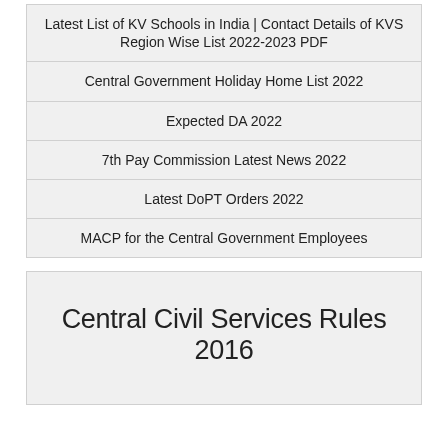Latest List of KV Schools in India | Contact Details of KVS Region Wise List 2022-2023 PDF
Central Government Holiday Home List 2022
Expected DA 2022
7th Pay Commission Latest News 2022
Latest DoPT Orders 2022
MACP for the Central Government Employees
Central Civil Services Rules 2016